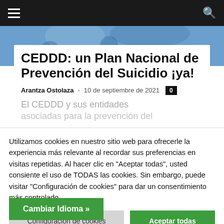≡  🔍
[Figure (photo): Header image showing people, partially visible behind article card]
CEDDD: un Plan Nacional de Prevención del Suicidio ¡ya!
Arantza Ostolaza - 10 de septiembre de 2021  0
El CEDDD y sus entidades asociadas para la prevención del…
Utilizamos cookies en nuestro sitio web para ofrecerle la experiencia más relevante al recordar sus preferencias en visitas repetidas. Al hacer clic en "Aceptar todas", usted consiente el uso de TODAS las cookies. Sin embargo, puede visitar "Configuración de cookies" para dar un consentimiento más controlado.
Configuración de cookies
Aceptar todas
Cambiar Idioma »